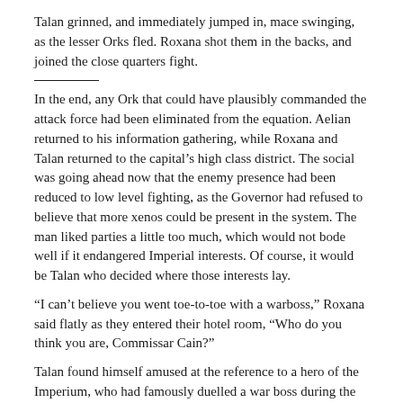Talan grinned, and immediately jumped in, mace swinging, as the lesser Orks fled. Roxana shot them in the backs, and joined the close quarters fight.
In the end, any Ork that could have plausibly commanded the attack force had been eliminated from the equation. Aelian returned to his information gathering, while Roxana and Talan returned to the capital’s high class district. The social was going ahead now that the enemy presence had been reduced to low level fighting, as the Governor had refused to believe that more xenos could be present in the system. The man liked parties a little too much, which would not bode well if it endangered Imperial interests. Of course, it would be Talan who decided where those interests lay.
“I can’t believe you went toe-to-toe with a warboss,” Roxana said flatly as they entered their hotel room, “Who do you think you are, Commissar Cain?”
Talan found himself amused at the reference to a hero of the Imperium, who had famously duelled a war boss during the Siege of Perlia among other numerous achievements. Talan found something off with him, but then, as one of Inquisitor Vail’s acolytes, that wasn’t unusual. Only the Emperor only knew what she needed him for. Regardless, the decision to fight the warboss personally had been necessary, in order to avoid a withering counterattack.